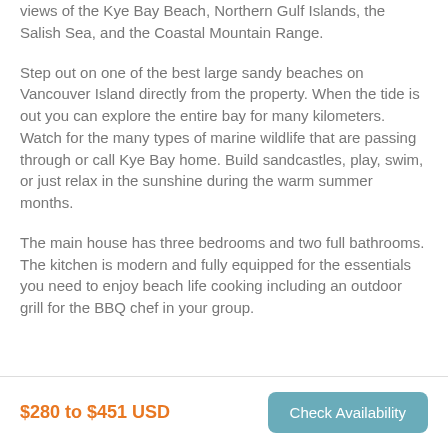views of the Kye Bay Beach, Northern Gulf Islands, the Salish Sea, and the Coastal Mountain Range.
Step out on one of the best large sandy beaches on Vancouver Island directly from the property. When the tide is out you can explore the entire bay for many kilometers. Watch for the many types of marine wildlife that are passing through or call Kye Bay home. Build sandcastles, play, swim, or just relax in the sunshine during the warm summer months.
The main house has three bedrooms and two full bathrooms. The kitchen is modern and fully equipped for the essentials you need to enjoy beach life cooking including an outdoor grill for the BBQ chef in your group.
$280 to $451 USD
Check Availability